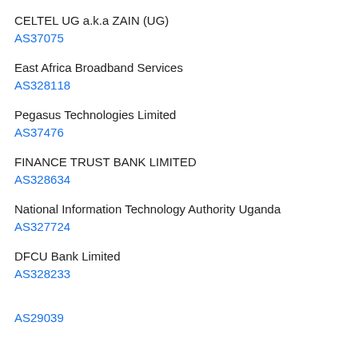CELTEL UG a.k.a ZAIN (UG)
AS37075
East Africa Broadband Services
AS328118
Pegasus Technologies Limited
AS37476
FINANCE TRUST BANK LIMITED
AS328634
National Information Technology Authority Uganda
AS327724
DFCU Bank Limited
AS328233
AS29039